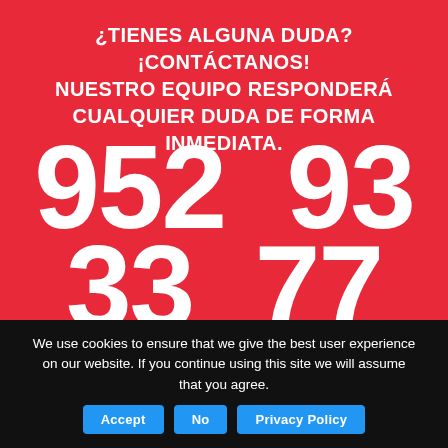¿TIENES ALGUNA DUDA? ¡CONTÁCTANOS! NUESTRO EQUIPO RESPONDERÁ CUALQUIER DUDA DE FORMA INMEDIATA.
952 93 33 77
We use cookies to ensure that we give the best user experience on our website. If you continue using this site we will assume that you agree.